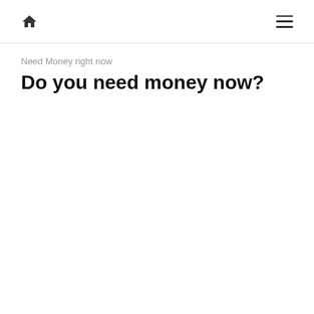Home | Menu
Need Money right now
Do you need money now?